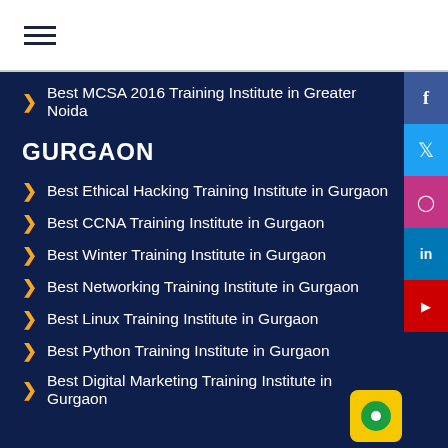☰ (hamburger menu icon)
Best MCSA 2016 Training Institute in Greater Noida
GURGAON
Best Ethical Hacking Training Institute in Gurgaon
Best CCNA Training Institute in Gurgaon
Best Winter Training Institute in Gurgaon
Best Networking Training Institute in Gurgaon
Best Linux Training Institute in Gurgaon
Best Python Training Institute in Gurgaon
Best Digital Marketing Training Institute in Gurgaon